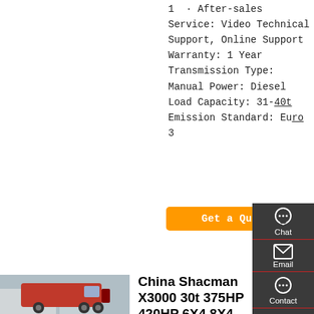1  · After-sales Service: Video Technical Support, Online Support
Warranty: 1 Year
Transmission Type: Manual
Power: Diesel
Load Capacity: 31-40t
Emission Standard: Euro 3
Get a Quote
[Figure (photo): Red Shacman heavy truck / tractor unit parked in a yard with buildings in background]
China Shacman X3000 30t 375HP 420HP 6X4 8X4 Tipping...